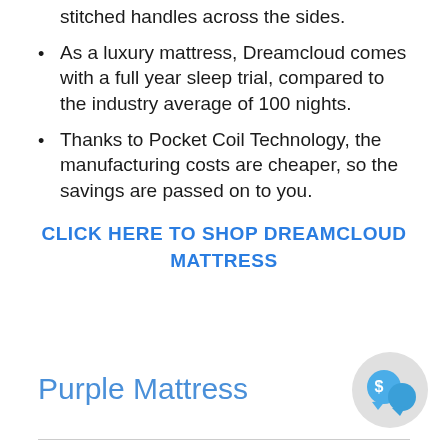stitched handles across the sides.
As a luxury mattress, Dreamcloud comes with a full year sleep trial, compared to the industry average of 100 nights.
Thanks to Pocket Coil Technology, the manufacturing costs are cheaper, so the savings are passed on to you.
CLICK HERE TO SHOP DREAMCLOUD MATTRESS
Purple Mattress